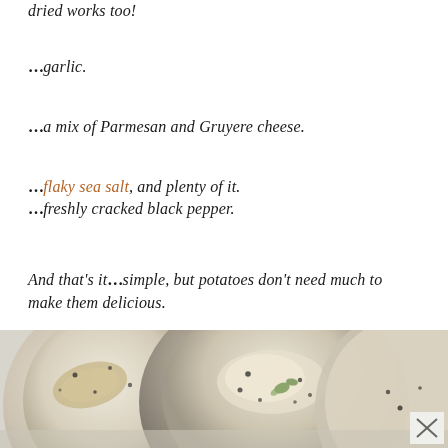…dried works too!
…garlic.
…a mix of Parmesan and Gruyere cheese.
…flaky sea salt, and plenty of it.
…freshly cracked black pepper.
And that's it…simple, but potatoes don't need much to make them delicious.
[Figure (photo): Overhead close-up photo of baked potato gratin dishes with cream, herbs, and black pepper, showing multiple ramekins with golden potato slices]